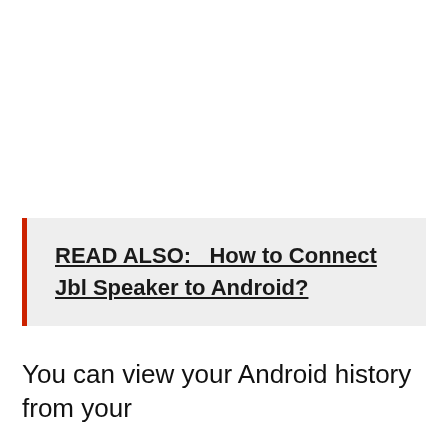READ ALSO:  How to Connect Jbl Speaker to Android?
You can view your Android history from your